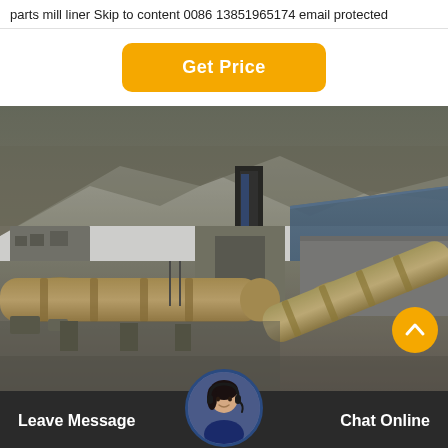parts mill liner Skip to content 0086 13851965174 email protected
Get Price
[Figure (photo): Industrial aerial view of a cement or mining plant with large rotary kilns/ball mills in the foreground, industrial buildings and hillside terracing in the background. Black and white/sepia toned photograph.]
Leave Message
Chat Online